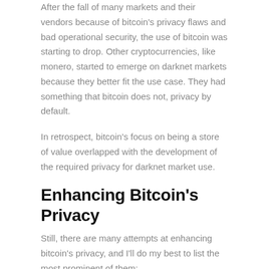After the fall of many markets and their vendors because of bitcoin's privacy flaws and bad operational security, the use of bitcoin was starting to drop. Other cryptocurrencies, like monero, started to emerge on darknet markets because they better fit the use case. They had something that bitcoin does not, privacy by default.
In retrospect, bitcoin's focus on being a store of value overlapped with the development of the required privacy for darknet market use.
Enhancing Bitcoin's Privacy
Still, there are many attempts at enhancing bitcoin's privacy, and I'll do my best to list the most prominent of them:
Tumblers